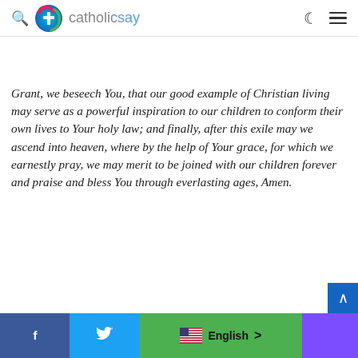catholicsay
Grant, we beseech You, that our good example of Christian living may serve as a powerful inspiration to our children to conform their own lives to Your holy law; and finally, after this exile may we ascend into heaven, where by the help of Your grace, for which we earnestly pray, we may merit to be joined with our children forever and praise and bless You through everlasting ages, Amen.
Facebook | Twitter | English